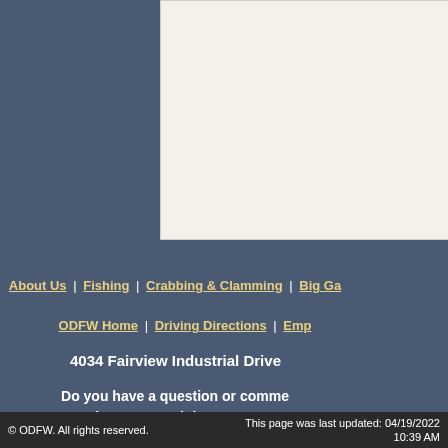[Figure (other): Cream/off-white content area box on the right portion of the page]
About Us | Fishing | Crabbing & Clamming | Big Ga...
ODFW Home | Driving Directions | Emp...
4034 Fairview Industrial Drive
Do you have a question or comme... Share your opinion or com...
© ODFW. All rights reserved. | This page was last updated: 04/19/2022 10:39 AM